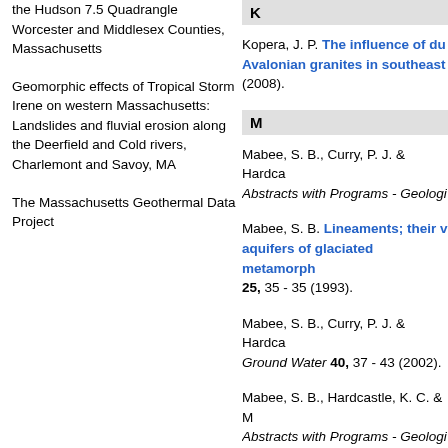the Hudson 7.5 Quadrangle Worcester and Middlesex Counties, Massachusetts
Geomorphic effects of Tropical Storm Irene on western Massachusetts: Landslides and fluvial erosion along the Deerfield and Cold rivers, Charlemont and Savoy, MA
The Massachusetts Geothermal Data Project
K
Kopera, J. P. The influence of due Avalonian granites in southeast (2008).
M
Mabee, S. B., Curry, P. J. & Hardca Abstracts with Programs - Geologi
Mabee, S. B. Lineaments; their v aquifers of glaciated metamorph 25, 35 - 35 (1993).
Mabee, S. B., Curry, P. J. & Hardca Ground Water 40, 37 - 43 (2002).
Mabee, S. B., Hardcastle, K. C. & Abstracts with Programs - Geologi
Mabee, S. B., Hardcastle, K. C. &